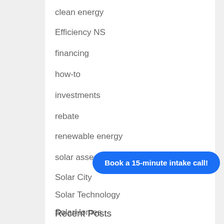clean energy
Efficiency NS
financing
how-to
investments
rebate
renewable energy
solar assessment
Solar City
Solar Technology
SolarHomes
Book a 15-minute intake call!
Recent Posts